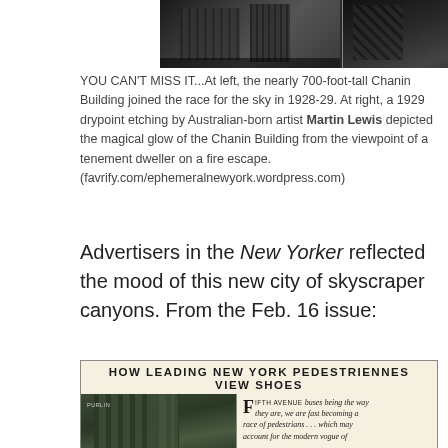[Figure (photo): Two black and white historical photographs side by side: left showing the Chanin Building skyscraper under construction, right showing a 1929 drypoint etching by Martin Lewis depicting the Chanin Building's glow from a fire escape viewpoint]
YOU CAN'T MISS IT...At left, the nearly 700-foot-tall Chanin Building joined the race for the sky in 1928-29. At right, a 1929 drypoint etching by Australian-born artist Martin Lewis depicted the magical glow of the Chanin Building from the viewpoint of a tenement dweller on a fire escape. (favrify.com/ephemeralnewyork.wordpress.com)
Advertisers in the New Yorker reflected the mood of this new city of skyscraper canyons. From the Feb. 16 issue:
[Figure (photo): A vintage New Yorker advertisement showing a skyscraper photograph on the left and text on the right. Headline reads 'HOW LEADING NEW YORK PEDESTRIENNES VIEW SHOES'. Body text references Fifth Avenue buses and pedestrians leading into a promotion for 'FASHION WELTS'.]